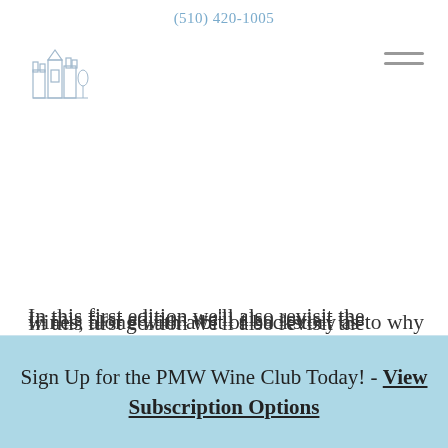(510) 420-1005
[Figure (logo): Wine shop logo with illustrated buildings/castle in light blue-gray]
wines, along with a bit of backstory as to why we find them so fantastic. We will also share a simple recipe that can be whipped up on the fly, as well as other fun, inspirational content.
In this first edition we'll also revisit the
Sign Up for the PMW Wine Club Today! - View Subscription Options